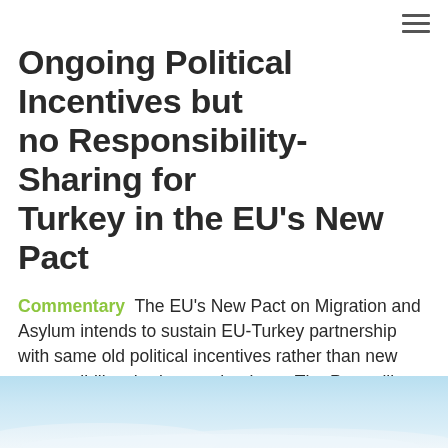≡
Ongoing Political Incentives but no Responsibility-Sharing for Turkey in the EU's New Pact
Commentary  The EU's New Pact on Migration and Asylum intends to sustain EU-Turkey partnership with same old political incentives rather than new responsibility-sharing mechanisms. The Pact will thus promote securitisation in the Mediterranean without generating meaningful change.
12 October 2020 by Birce Demiryontar
[Figure (photo): Sky and horizon photograph, light blue tones with clouds at the bottom of the image]